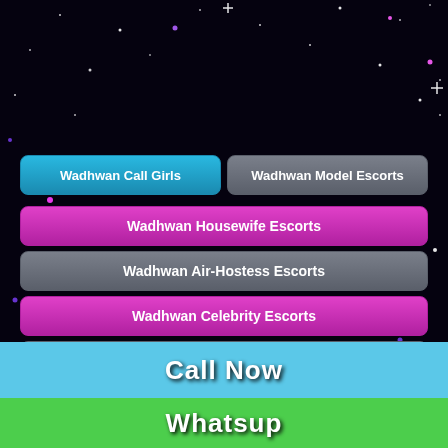Wadhwan Call Girls
Wadhwan Model Escorts
Wadhwan Housewife Escorts
Wadhwan Air-Hostess Escorts
Wadhwan Celebrity Escorts
Wadhwan Teen Escorts
Wadhwan Punjabi Escorts
Wadhwan VIP Escorts
Wadhwan High Profile Escorts
Wadhwan South Indian Escorts
Call Now
Whatsup